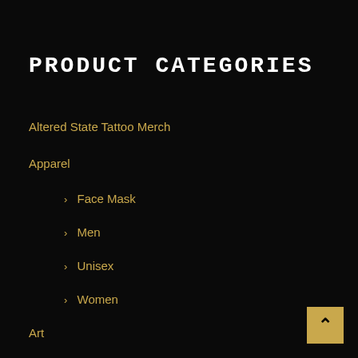PRODUCT CATEGORIES
Altered State Tattoo Merch
Apparel
> Face Mask
> Men
> Unisex
> Women
Art
> Canvas
> Luster Poster
> Matte Poster